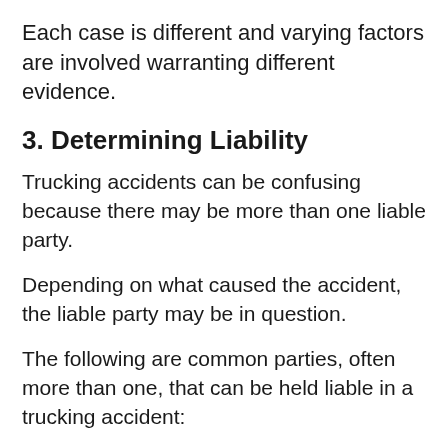Each case is different and varying factors are involved warranting different evidence.
3. Determining Liability
Trucking accidents can be confusing because there may be more than one liable party.
Depending on what caused the accident, the liable party may be in question.
The following are common parties, often more than one, that can be held liable in a trucking accident: